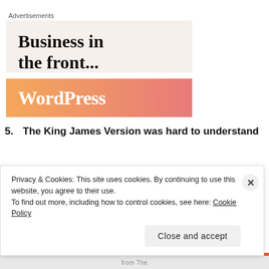Advertisements
[Figure (illustration): Advertisement banner for WordPress showing text 'Business in the front...' on a light beige background, with a WordPress logo on an orange-to-pink gradient banner below.]
5. The King James Version was hard to understand
Privacy & Cookies: This site uses cookies. By continuing to use this website, you agree to their use.
To find out more, including how to control cookies, see here: Cookie Policy
Close and accept